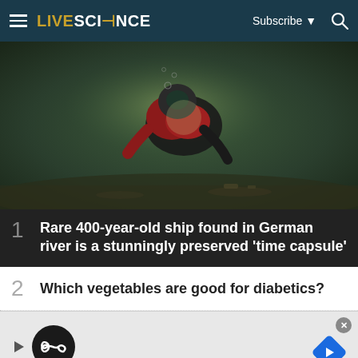LIVESCIENCE | Subscribe | Search
[Figure (photo): Underwater photo of a scuba diver in red and black diving gear examining sediment on the riverbed, with murky greenish water]
1 Rare 400-year-old ship found in German river is a stunningly preserved 'time capsule'
2 Which vegetables are good for diabetics?
[Figure (other): Advertisement banner with play button icon, infinity loop logo circle, X close icon, close X button in top right, and a blue navigation arrow diamond icon on the right]